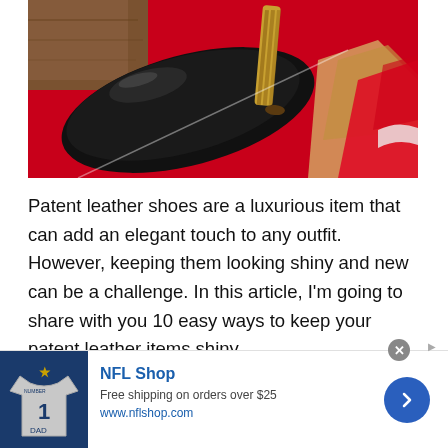[Figure (photo): Close-up photo of black patent leather high heel shoes on a red surface, with a shopping bag visible in the background]
Patent leather shoes are a luxurious item that can add an elegant touch to any outfit. However, keeping them looking shiny and new can be a challenge. In this article, I'm going to share with you 10 easy ways to keep your patent leather items shiny.
[Figure (infographic): NFL Shop advertisement banner. Shows NFL team jersey with number 1 DAD. Text: NFL Shop, Free shipping on orders over $25, www.nflshop.com. Blue circular arrow button on right.]